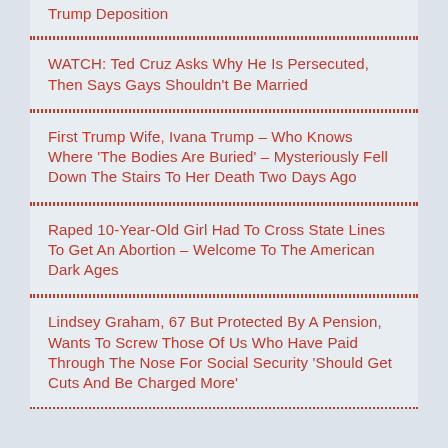Trump Deposition
WATCH: Ted Cruz Asks Why He Is Persecuted, Then Says Gays Shouldn't Be Married
First Trump Wife, Ivana Trump – Who Knows Where 'The Bodies Are Buried' – Mysteriously Fell Down The Stairs To Her Death Two Days Ago
Raped 10-Year-Old Girl Had To Cross State Lines To Get An Abortion – Welcome To The American Dark Ages
Lindsey Graham, 67 But Protected By A Pension, Wants To Screw Those Of Us Who Have Paid Through The Nose For Social Security 'Should Get Cuts And Be Charged More'